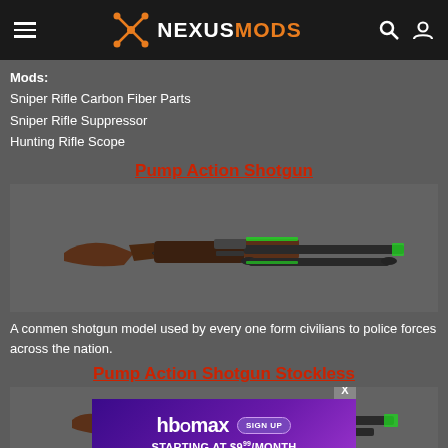NEXUSMODS
Mods:
Sniper Rifle Carbon Fiber Parts
Sniper Rifle Suppressor
Hunting Rifle Scope
Pump Action Shotgun
[Figure (photo): 3D render of a pump action shotgun with wooden stock and green highlights on the pump]
A conmen shotgun model used by every one form civilians to police forces across the nation.
Pump Action Shotgun Stockless
[Figure (photo): 3D render of a stockless pump action shotgun with green highlights, with HBO Max advertisement overlay]
[Figure (screenshot): HBO Max advertisement: SIGN UP STARTING AT $9.99/MONTH]